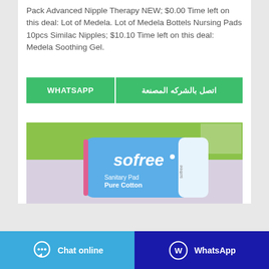Pack Advanced Nipple Therapy NEW; $0.00 Time left on this deal: Lot of Medela. Lot of Medela Bottels Nursing Pads 10pcs Similac Nipples; $10.10 Time left on this deal: Medela Soothing Gel.
[Figure (other): Two green buttons side by side: WHATSAPP on the left, Arabic text on the right (اتصل بالشركه المصنعة)]
[Figure (photo): Photo of a Sofree Sanitary Pad Pure Cotton product package, blue packaging, on a green and light purple background]
[Figure (other): Bottom navigation bar with two buttons: Chat online (light blue) on the left and WhatsApp (dark blue) on the right]